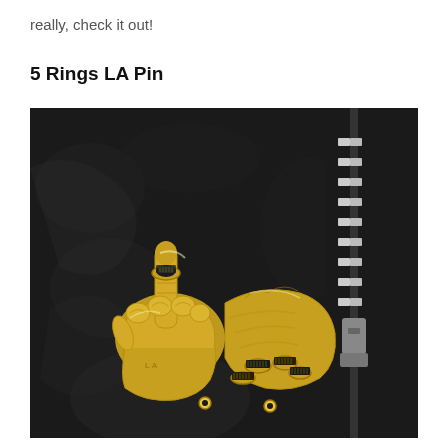really, check it out!
5 Rings LA Pin
[Figure (photo): A gold 5 Rings LA Pin shaped like two fists with gold rings on the fingers, photographed on a black leather jacket next to a zipper. The pin is detailed with ring accents on multiple fingers.]